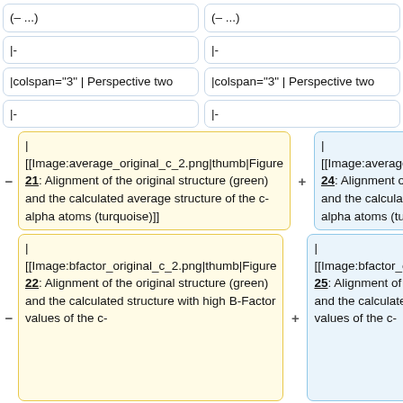(– ...)
(– ...)
|-
|-
|colspan="3" | Perspective two
|colspan="3" | Perspective two
|-
|-
|
[[Image:average_original_c_2.png|thumb|Figure 21: Alignment of the original structure (green) and the calculated average structure of the c-alpha atoms (turquoise)]]
|
[[Image:average_original_c_2.png|thumb|Figure 24: Alignment of the original structure (green) and the calculated average structure of the c-alpha atoms (turquoise)]]
|
[[Image:bfactor_original_c_2.png|thumb|Figure 22: Alignment of the original structure (green) and the calculated structure with high B-Factor values of the c-
|
[[Image:bfactor_original_c_2.png|thumb|Figure 25: Alignment of the original structure (green) and the calculated structure with high B-Factor values of the c-